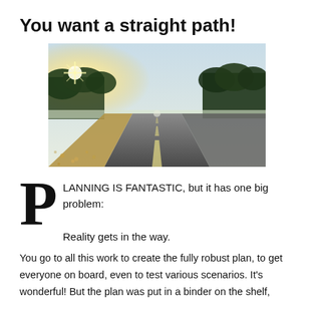You want a straight path!
[Figure (photo): A low-angle perspective photograph of a long straight road stretching to the horizon, flanked by trees and lit by bright sunlight on the left side.]
PLANNING IS FANTASTIC, but it has one big problem:

Reality gets in the way.
You go to all this work to create the fully robust plan, to get everyone on board, even to test various scenarios. It's wonderful! But the plan was put in a binder on the shelf,